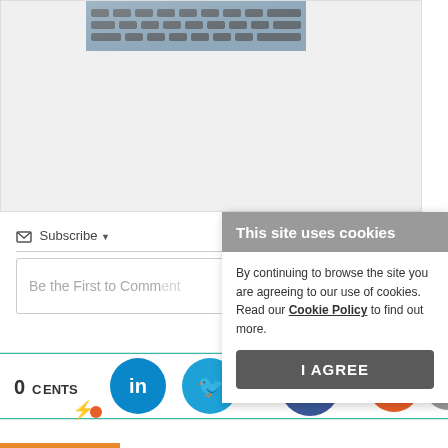[Figure (photo): Partial screenshot of a webpage showing a photo of a laptop/keyboard at the top, inside a gray card area]
Subscribe ▾
Be the First to Comment
[Figure (screenshot): Cookie consent popup overlay: header 'This site uses cookies', body text 'By continuing to browse the site you are agreeing to our use of cookies. Read our Cookie Policy to find out more.', button 'I AGREE']
0 COMMENTS
[Figure (infographic): Social sharing bar with LinkedIn, Twitter, Facebook, Reddit, and email icon circles on a teal horizontal line]